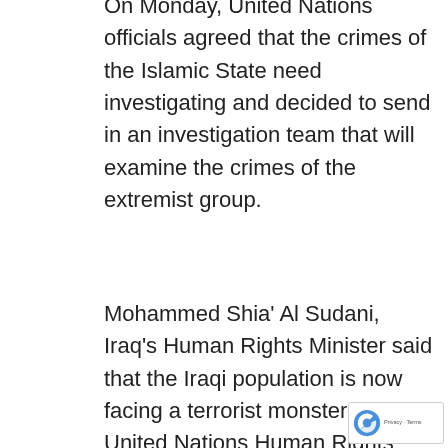On Monday, United Nations officials agreed that the crimes of the Islamic State need investigating and decided to send in an investigation team that will examine the crimes of the extremist group.
Mohammed Shia' Al Sudani, Iraq's Human Rights Minister said that the Iraqi population is now facing a terrorist monster as the United Nations Human Rights Council had been assembled for an emergency sitting.
[Figure (photo): Interior of the United Nations Human Rights Council chamber in Geneva, showing the curved ceiling mural, the curved seating arrangement, and delegates in session.]
The Council adop a